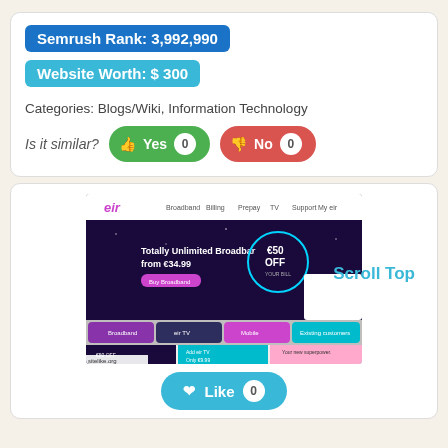Semrush Rank: 3,992,990
Website Worth: $ 300
Categories: Blogs/Wiki, Information Technology
Is it similar? Yes 0  No 0
[Figure (screenshot): Screenshot of eir.ie website showing Totally Unlimited Broadband from €34.99 and €50 OFF promotion, with navigation bar and content sections. sitelike.org watermark visible.]
Scroll Top
Like 0